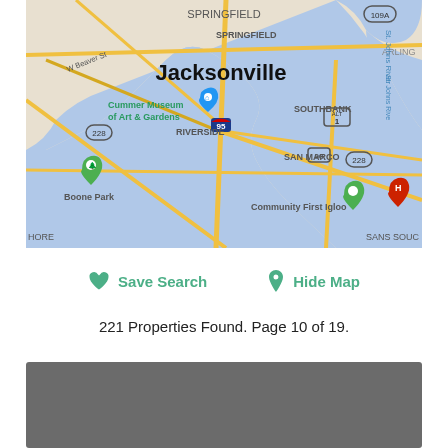[Figure (map): Google Maps view of Jacksonville, FL area showing Riverside, Southbank, San Marco, Boone Park, Community First Igloo, Cummer Museum of Art & Gardens, with green map pins and a red H (hotel) marker. Major roads and St. Johns River visible.]
Save Search
Hide Map
221 Properties Found. Page 10 of 19.
[Figure (photo): Gray/dark property listing card placeholder at bottom of page]